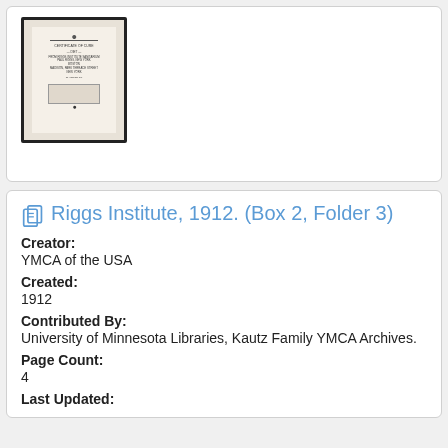[Figure (photo): Thumbnail image of a historical document page with decorative border and small text, shown within a dark-bordered frame.]
Riggs Institute, 1912. (Box 2, Folder 3)
Creator:
YMCA of the USA
Created:
1912
Contributed By:
University of Minnesota Libraries, Kautz Family YMCA Archives.
Page Count:
4
Last Updated: